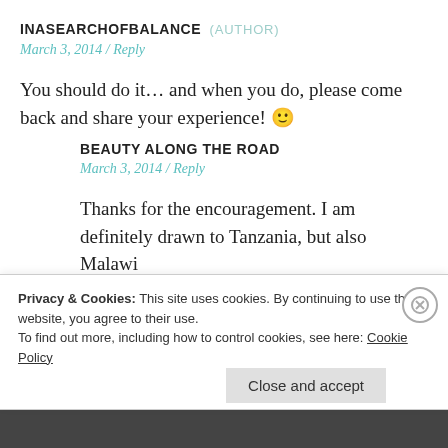INASEARCHOFBALANCE (AUTHOR)
March 3, 2014 / Reply
You should do it… and when you do, please come back and share your experience! 🙂
BEAUTY ALONG THE ROAD
March 3, 2014 / Reply
Thanks for the encouragement. I am definitely drawn to Tanzania, but also Malawi
Privacy & Cookies: This site uses cookies. By continuing to use this website, you agree to their use. To find out more, including how to control cookies, see here: Cookie Policy
Close and accept